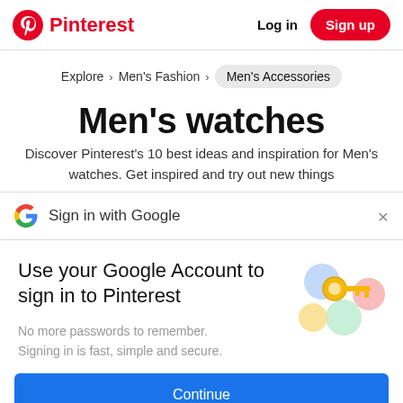Pinterest  Log in  Sign up
Explore > Men's Fashion > Men's Accessories
Men's watches
Discover Pinterest's 10 best ideas and inspiration for Men's watches. Get inspired and try out new things
Sign in with Google
Use your Google Account to sign in to Pinterest
No more passwords to remember. Signing in is fast, simple and secure.
Continue